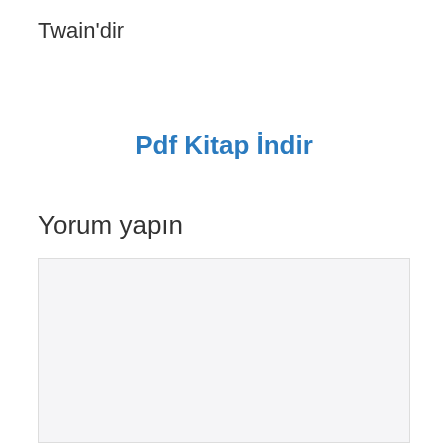Twain'dir
Pdf Kitap İndir
Yorum yapın
[Figure (other): Empty comment/text input box with light gray background]